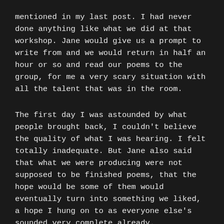mentioned in my last post. I had never done anything like what we did at that workshop. Jane would give us a prompt to write from and we would return in half an hour or so and read our poems to the group, for me a very scary situation with all the talent that was in the room.
The first day I was astounded by what people brought back, I couldn't believe the quality of what I was hearing. I felt totally inadequate. But Jane also said that what we were producing were not supposed to be finished poems, that the hope would be some of them would eventually turn into something we liked, a hope I hung on to as everyone else's sounded very complete already.